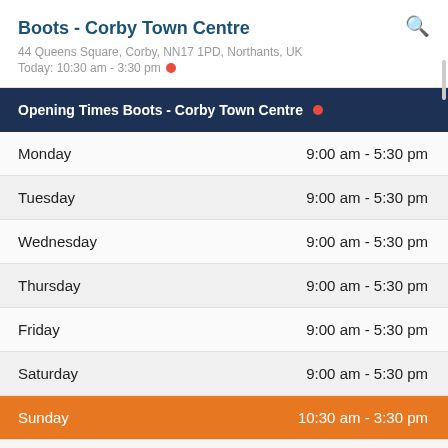Boots - Corby Town Centre
44 Queens Square, Corby, NN17 1PD, Northants, UK
Today: 10:30 am - 3:30 pm
| Opening Times Boots - Corby Town Centre |  |
| --- | --- |
| Monday | 9:00 am - 5:30 pm |
| Tuesday | 9:00 am - 5:30 pm |
| Wednesday | 9:00 am - 5:30 pm |
| Thursday | 9:00 am - 5:30 pm |
| Friday | 9:00 am - 5:30 pm |
| Saturday | 9:00 am - 5:30 pm |
| Sunday | 10:30 am - 3:30 pm |